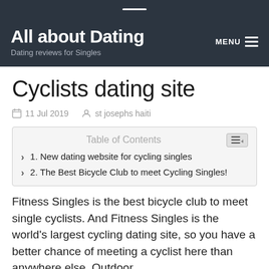All about Dating — Dating reviews for Singles
Cyclists dating site
11 Jul 2019   st josephs haiti
| Table of Contents |
| --- |
| 1. New dating website for cycling singles |
| 2. The Best Bicycle Club to meet Cycling Singles! |
Fitness Singles is the best bicycle club to meet single cyclists. And Fitness Singles is the world's largest cycling dating site, so you have a better chance of meeting a cyclist here than anywhere else. Outdoor